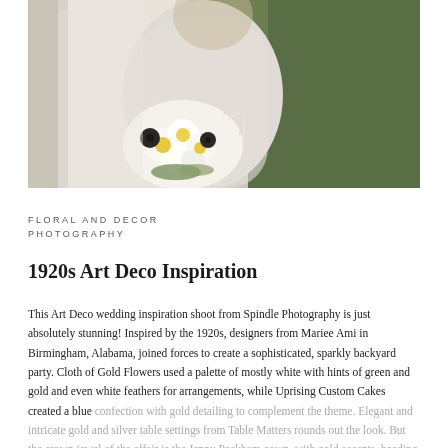[Figure (photo): Wedding photo showing a bride in a white lace dress holding a large white and yellow floral bouquet with greenery, seated against a green outdoor background]
FLORAL AND DECOR PHOTOGRAPHY
1920s Art Deco Inspiration
This Art Deco wedding inspiration shoot from Spindle Photography is just absolutely stunning! Inspired by the 1920s, designers from Mariee Ami in Birmingham, Alabama, joined forces to create a sophisticated, sparkly backyard party. Cloth of Gold Flowers used a palette of mostly white with hints of green and gold and even white feathers for arrangements, while Uprising Custom Cakes created a blue confection with gold detailing to complement the theme. Elegant and intricate gold and silver table settings from Table Matters rounds out the look. But the crown jewel of the affair is the Jenny Packham gown, with gold accents, beading and